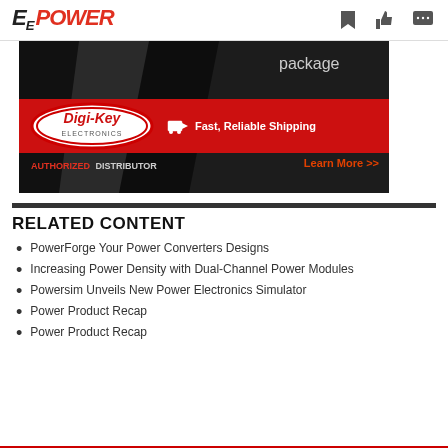EE POWER
[Figure (photo): Digi-Key Electronics advertisement banner showing 'Fast, Reliable Shipping' and 'AUTHORIZED DISTRIBUTOR' with 'Learn More >>' call to action and 'package' text visible in upper right.]
RELATED CONTENT
PowerForge Your Power Converters Designs
Increasing Power Density with Dual-Channel Power Modules
Powersim Unveils New Power Electronics Simulator
Power Product Recap
Power Product Recap